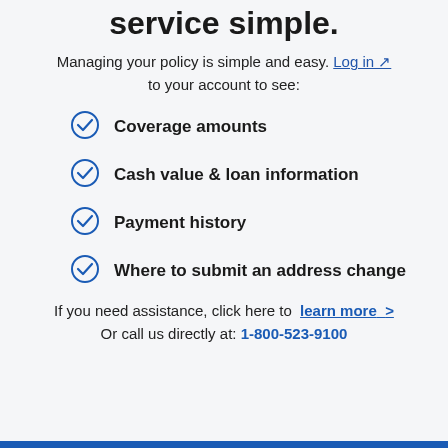service simple.
Managing your policy is simple and easy. Log in to your account to see:
Coverage amounts
Cash value & loan information
Payment history
Where to submit an address change
If you need assistance, click here to learn more >
Or call us directly at: 1-800-523-9100